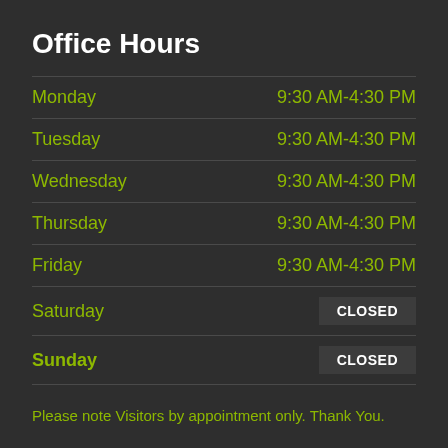Office Hours
| Day | Hours |
| --- | --- |
| Monday | 9:30 AM-4:30 PM |
| Tuesday | 9:30 AM-4:30 PM |
| Wednesday | 9:30 AM-4:30 PM |
| Thursday | 9:30 AM-4:30 PM |
| Friday | 9:30 AM-4:30 PM |
| Saturday | CLOSED |
| Sunday | CLOSED |
Please note Visitors by appointment only. Thank You.